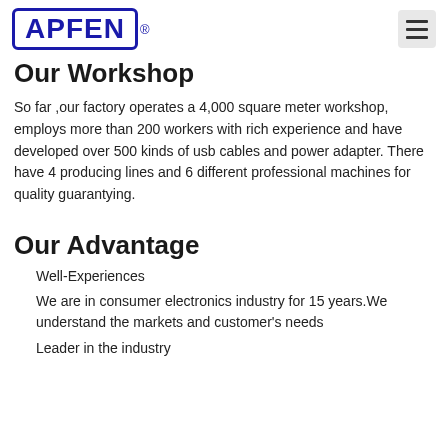APFEN®
Our Workshop
So far ,our factory operates a 4,000 square meter workshop, employs more than 200 workers with rich experience and have developed over 500 kinds of usb cables and power adapter. There have 4 producing lines and 6 different professional machines for quality guarantying.
Our Advantage
Well-Experiences
We are in consumer electronics industry for 15 years.We understand the markets and customer's needs
Leader in the industry